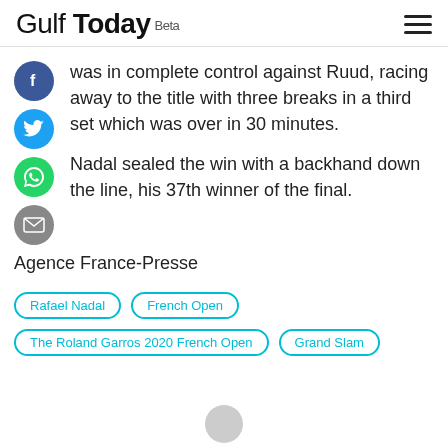Gulf Today Beta
was in complete control against Ruud, racing away to the title with three breaks in a third set which was over in 30 minutes.
Nadal sealed the win with a backhand down the line, his 37th winner of the final.
Agence France-Presse
Rafael Nadal
French Open
The Roland Garros 2020 French Open
Grand Slam